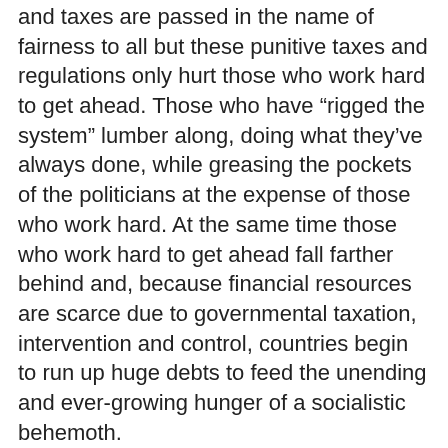and taxes are passed in the name of fairness to all but these punitive taxes and regulations only hurt those who work hard to get ahead. Those who have “rigged the system” lumber along, doing what they’ve always done, while greasing the pockets of the politicians at the expense of those who work hard. At the same time those who work hard to get ahead fall farther behind and, because financial resources are scarce due to governmental taxation, intervention and control, countries begin to run up huge debts to feed the unending and ever-growing hunger of a socialistic behemoth.
Margaret Thatcher, when British Prime Minister, summed it up quite succinctly when she said; “The trouble with Socialism is that eventually you run out of other people’s money.” This statement exemplifies socialism and exposes its inevitable results. Socialism sounds great but is destined for inexorable failure.
Slavery is being Owned